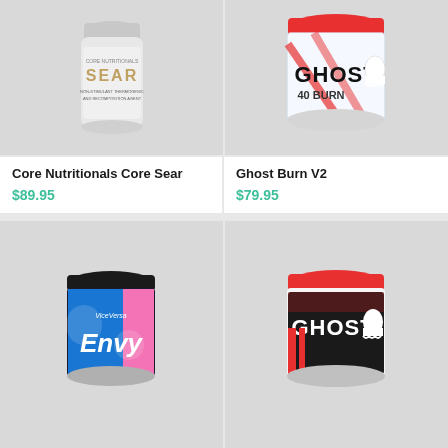[Figure (photo): Core Nutritionals Core Sear supplement bottle, white container with silver/holographic label showing SEAR branding]
Core Nutritionals Core Sear
$89.95
[Figure (photo): Ghost Burn V2 supplement tub, clear container with red lid, GHOST branding with ghost logo, 40 servings Burn label, sour worm flavor]
Ghost Burn V2
$79.95
[Figure (photo): ViceVersa Envy supplement tub, black lid, colorful blue and pink label with Envy branding]
[Figure (photo): Ghost supplement tub, red lid, black and red label with GHOST branding and ghost logo]